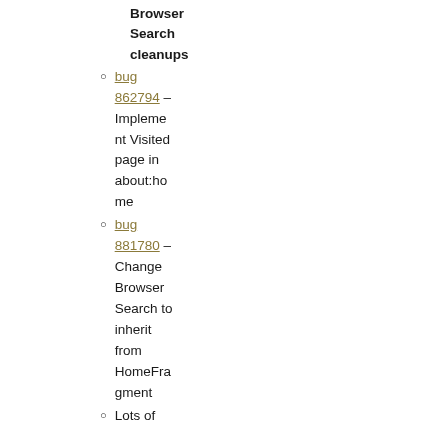Browser Search cleanups
bug 862794 – Implement Visited page in about:home
bug 881780 – Change Browser Search to inherit from HomeFragment
Lots of